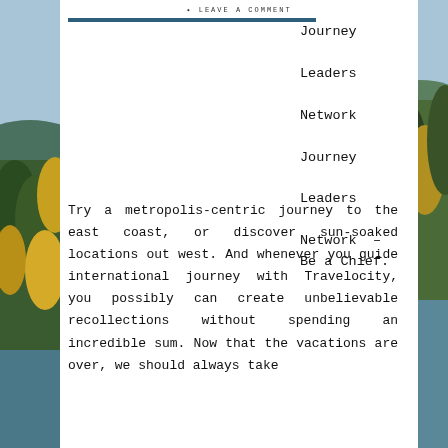LEAVE A COMMENT
Journey
Leaders
Network
Journey
Leaders
Network – Be a Chief.
Try a metropolis-centric journey to the east coast, or discover sun-soaked locations out west. And whenever you guide international journey with Travelocity, you possibly can create unbelievable recollections without spending an incredible sum. Now that the vacations are over, we should always take